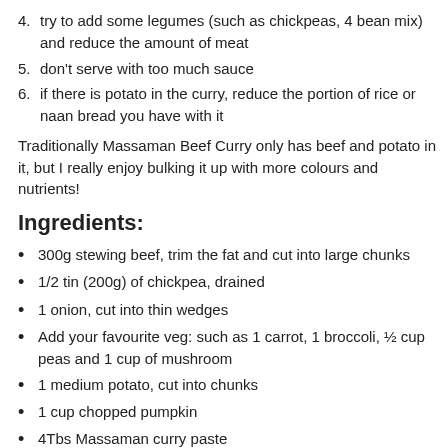4. try to add some legumes (such as chickpeas, 4 bean mix) and reduce the amount of meat
5. don't serve with too much sauce
6. if there is potato in the curry, reduce the portion of rice or naan bread you have with it
Traditionally Massaman Beef Curry only has beef and potato in it, but I really enjoy bulking it up with more colours and nutrients!
Ingredients:
300g stewing beef, trim the fat and cut into large chunks
1/2 tin (200g) of chickpea, drained
1 onion, cut into thin wedges
Add your favourite veg: such as 1 carrot, 1 broccoli, ½ cup peas and 1 cup of mushroom
1 medium potato, cut into chunks
1 cup chopped pumpkin
4Tbs Massaman curry paste
400ml light coconut milk